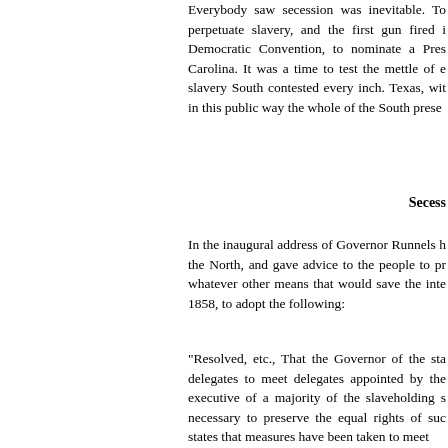Everybody saw secession was inevitable. To perpetuate slavery, and the first gun fired in Democratic Convention, to nominate a President, Carolina. It was a time to test the mettle of e slavery South contested every inch. Texas, wit in this public way the whole of the South prese
Secess
In the inaugural address of Governor Runnels h the North, and gave advice to the people to pr whatever other means that would save the inte 1858, to adopt the following:
"Resolved, etc., That the Governor of the sta delegates to meet delegates appointed by the executive of a majority of the slaveholding s necessary to preserve the equal rights of suc states that measures have been taken to meet
A difference of opinion existing as to the statu Act, Governor Runnels, in his retiring message without equivocation. He urged that if the laws should know it, the better. He was opposed to He said: "We have asked time and again that endanger our domestic policy, or our peace an cease. Our prayers have not been granted, anc of complaint, without even offering a reason to however insidious and covert its form, or hidde unconditional, no. Silence at this juncture, in vie